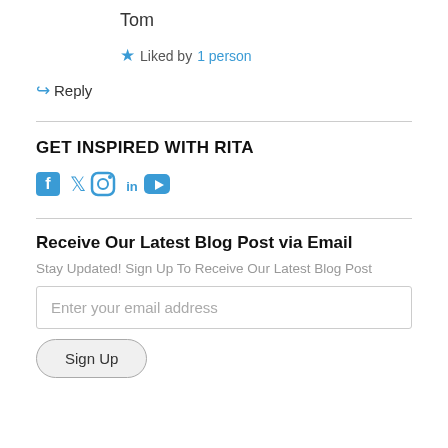Tom
★ Liked by 1 person
↪ Reply
GET INSPIRED WITH RITA
[Figure (other): Social media icons: Facebook, Twitter, Instagram, LinkedIn, YouTube]
Receive Our Latest Blog Post via Email
Stay Updated! Sign Up To Receive Our Latest Blog Post
Enter your email address
Sign Up